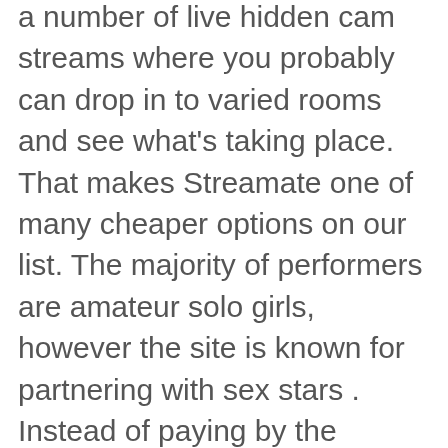a number of live hidden cam streams where you probably can drop in to varied rooms and see what's taking place. That makes Streamate one of many cheaper options on our list. The majority of performers are amateur solo girls, however the site is known for partnering with sex stars . Instead of paying by the minute, you pay a fixed price for entry.
Buying tokens gives you limitless chatting capabilities, except you are personally muted for being a dick. Largest number of free cams out of any adult chat site proper now, which makes it excellent if you're on a finances and are in search of a big selection of performers. As such, this